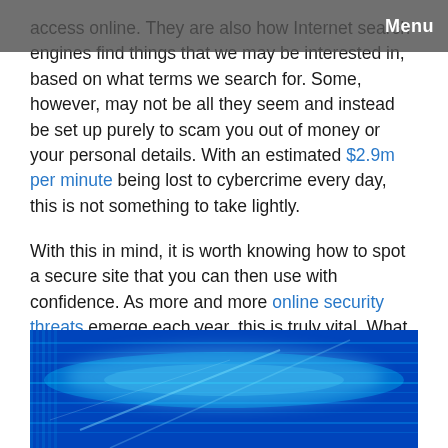Menu
access online. They are also how Internet search engines find things that we may be interested in, based on what terms we search for. Some, however, may not be all they seem and instead be set up purely to scam you out of money or your personal details. With an estimated $2.9m per minute being lost to cybercrime every day, this is not something to take lightly.
With this in mind, it is worth knowing how to spot a secure site that you can then use with confidence. As more and more online security threats emerge each year, this is truly vital. What should you take into account?
[Figure (photo): Close-up photo of a digital blue LED display or circuit board with glowing cyan/blue light streaks and lines, representing cybersecurity or digital technology.]